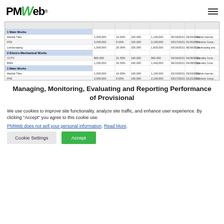PMWeb (logo) — navigation bar with hamburger menu
[Figure (screenshot): Screenshot of a PMWeb project management table showing contract data with columns for item names, values, percentages, dates, and subcontractor names. Rows include categories like Main Works, Electro-Mechanical Works with items such as Marble Tiles, FF&E, Landscaping, CCTV, BMS.]
Managing, Monitoring, Evaluating and Reporting Performance of Provisional
We use cookies to improve site functionality, analyze site traffic, and enhance user experience. By clicking "Accept" you agree to this cookie use.
PMWweb does not sell your personal information. Read More.
Cookie Settings
Accept